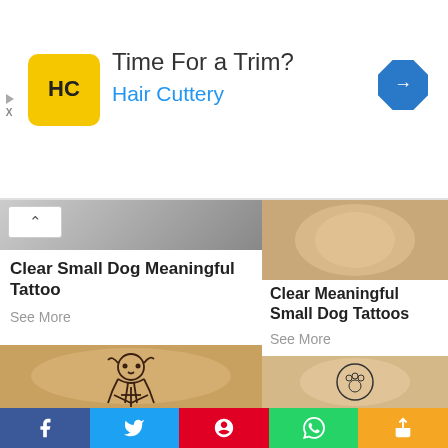[Figure (photo): Advertisement banner for Hair Cuttery with logo, tagline 'Time For a Trim?' and navigation arrow icon]
Clear Small Dog Meaningful Tattoo
See More
[Figure (photo): Photograph of a sketch-style dog tattoo on skin, showing a dog holding a cross or stick]
[Figure (photo): Photograph of a forearm/elbow area showing skin (tattoo area), top card for Clear Meaningful Small Dog Tattoos]
Clear Meaningful Small Dog Tattoos
See More
[Figure (photo): Photograph of a small circular dog tattoo on an arm]